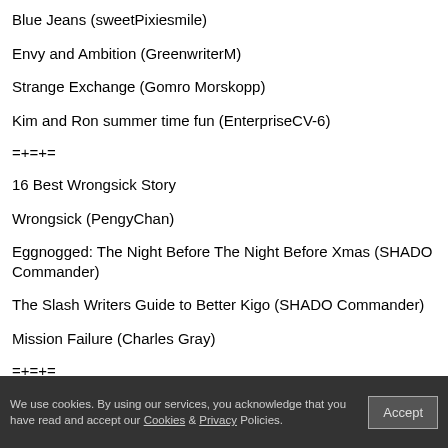Blue Jeans (sweetPixiesmile)
Envy and Ambition (GreenwriterM)
Strange Exchange (Gomro Morskopp)
Kim and Ron summer time fun (EnterpriseCV-6)
=+=+=
16 Best Wrongsick Story
Wrongsick (PengyChan)
Eggnogged: The Night Before The Night Before Xmas (SHADO Commander)
The Slash Writers Guide to Better Kigo (SHADO Commander)
Mission Failure (Charles Gray)
=+=+=
17 Best One-Shot Overall
Not a DUbious Distinction (noncynic)
Abracadabra (The Enduring Man-Child)
We use cookies. By using our services, you acknowledge that you have read and accept our Cookies & Privacy Policies.